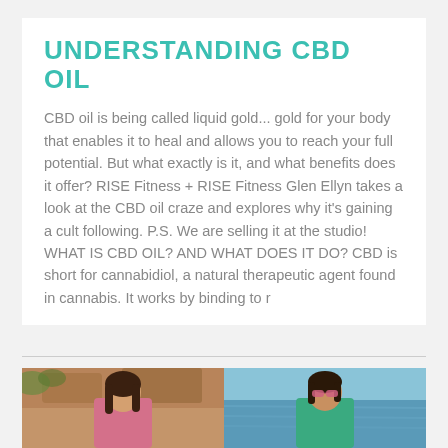UNDERSTANDING CBD OIL
CBD oil is being called liquid gold... gold for your body that enables it to heal and allows you to reach your full potential. But what exactly is it, and what benefits does it offer? RISE Fitness + RISE Fitness Glen Ellyn takes a look at the CBD oil craze and explores why it’s gaining a cult following. P.S. We are selling it at the studio! WHAT IS CBD OIL? AND WHAT DOES IT DO? CBD is short for cannabidiol, a natural therapeutic agent found in cannabis. It works by binding to r
[Figure (photo): Two photos side by side: left photo shows a woman with dark hair wearing a pink off-shoulder top outdoors with rocky background; right photo shows a woman with dark hair wearing a teal top and pink sunglasses near water.]